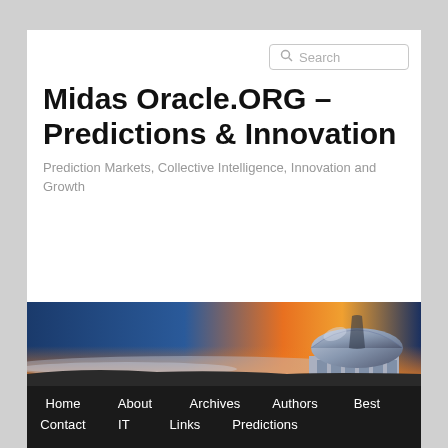Search
Midas Oracle.ORG – Predictions & Innovation
Prediction Markets, Collective Intelligence, Innovation and Growth
[Figure (photo): Twilight/dusk panoramic photo of an observatory telescope dome on a hill, with an orange and blue gradient sky at sunset and clouds below.]
Home  About  Archives  Authors  Best  Contact  IT  Links  Predictions